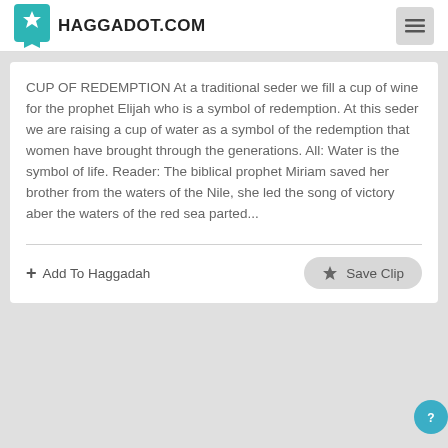HAGGADOT.COM
CUP OF REDEMPTION At a traditional seder we fill a cup of wine for the prophet Elijah who is a symbol of redemption. At this seder we are raising a cup of water as a symbol of the redemption that women have brought through the generations. All: Water is the symbol of life. Reader: The biblical prophet Miriam saved her brother from the waters of the Nile, she led the song of victory aber the waters of the red sea parted...